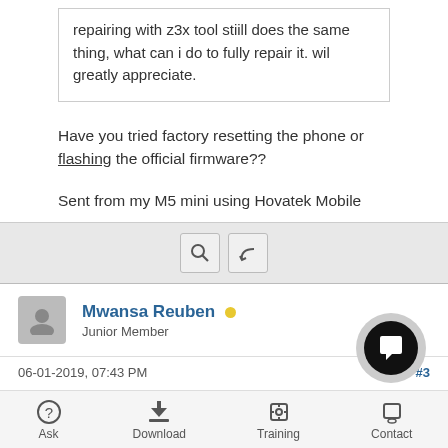repairing with z3x tool stiill does the same thing, what can i do to fully repair it. wil greatly appreciate.
Have you tried factory resetting the phone or flashing the official firmware??
Sent from my M5 mini using Hovatek Mobile
Mwansa Reuben • Junior Member
06-01-2019, 07:43 PM    #3
yes i did that actually downgrading to stock firmware same theing. factory reseting have done several times
Ask   Download   Training   Contact